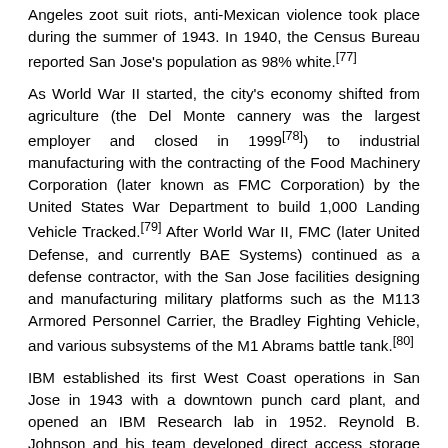Angeles zoot suit riots, anti-Mexican violence took place during the summer of 1943. In 1940, the Census Bureau reported San Jose's population as 98% white.[77]
As World War II started, the city's economy shifted from agriculture (the Del Monte cannery was the largest employer and closed in 1999[78]) to industrial manufacturing with the contracting of the Food Machinery Corporation (later known as FMC Corporation) by the United States War Department to build 1,000 Landing Vehicle Tracked.[79] After World War II, FMC (later United Defense, and currently BAE Systems) continued as a defense contractor, with the San Jose facilities designing and manufacturing military platforms such as the M113 Armored Personnel Carrier, the Bradley Fighting Vehicle, and various subsystems of the M1 Abrams battle tank.[80]
IBM established its first West Coast operations in San Jose in 1943 with a downtown punch card plant, and opened an IBM Research lab in 1952. Reynold B. Johnson and his team developed direct access storage for computers,[81] inventing the RAMAC 305 and the hard disk drive; the technological side of San Jose's economy grew.[82]